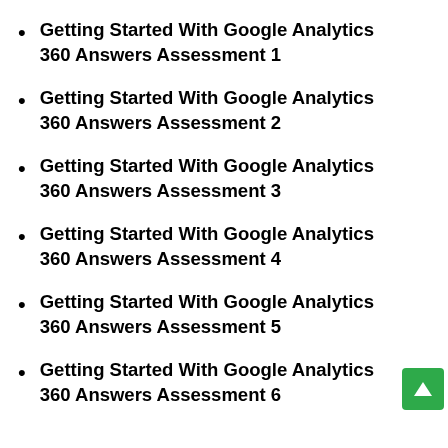Getting Started With Google Analytics 360 Answers Assessment 1
Getting Started With Google Analytics 360 Answers Assessment 2
Getting Started With Google Analytics 360 Answers Assessment 3
Getting Started With Google Analytics 360 Answers Assessment 4
Getting Started With Google Analytics 360 Answers Assessment 5
Getting Started With Google Analytics 360 Answers Assessment 6